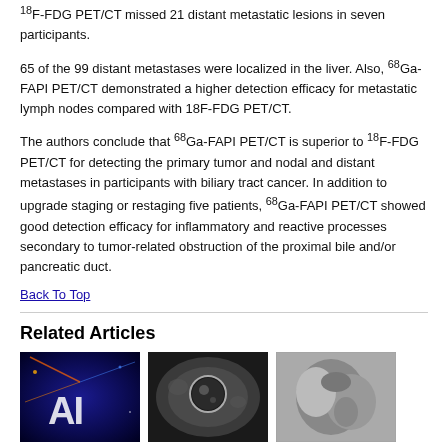18F-FDG PET/CT missed 21 distant metastatic lesions in seven participants.
65 of the 99 distant metastases were localized in the liver. Also, 68Ga-FAPI PET/CT demonstrated a higher detection efficacy for metastatic lymph nodes compared with 18F-FDG PET/CT.
The authors conclude that 68Ga-FAPI PET/CT is superior to 18F-FDG PET/CT for detecting the primary tumor and nodal and distant metastases in participants with biliary tract cancer. In addition to upgrade staging or restaging five patients, 68Ga-FAPI PET/CT showed good detection efficacy for inflammatory and reactive processes secondary to tumor-related obstruction of the proximal bile and/or pancreatic duct.
Back To Top
Related Articles
[Figure (photo): Three medical/scientific images shown side by side: an AI-related graphic with letters 'AI' on dark blue background, a CT scan showing a circular lesion, and a grayscale medical image]